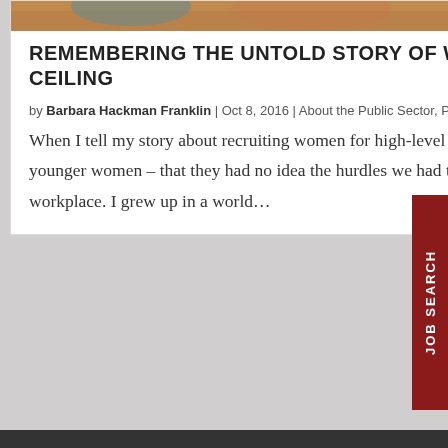[Figure (photo): Partial view of a photo of women, cropped at top of card]
REMEMBERING THE UNTOLD STORY OF WOMEN WHO BROKE THE GLASS CEILING
by Barbara Hackman Franklin | Oct 8, 2016 | About the Public Sector, Public Sector News
When I tell my story about recruiting women for high-level government jobs back in the 1970s, I often hear – from younger women – that they had no idea the hurdles we had to overcome to strive for equality for women in the workplace. I grew up in a world…